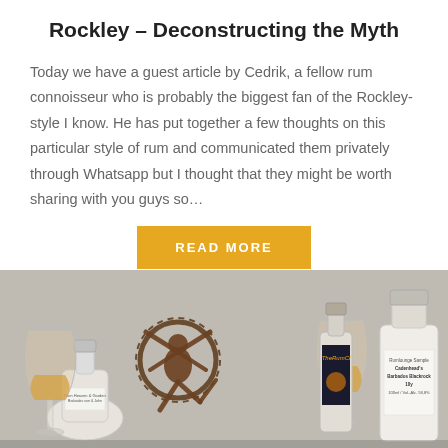Rockley – Deconstructing the Myth
Today we have a guest article by Cedrik, a fellow rum connoisseur who is probably the biggest fan of the Rockley-style I know. He has put together a few thoughts on this particular style of rum and communicated them privately through Whatsapp but I thought that they might be worth sharing with you guys so…
[Figure (other): A golden/amber colored button labeled READ MORE on a yellow/mustard background]
[Figure (photo): A photograph showing several small rum bottles and two whisky tasting glasses with amber liquid, along with a decorative metallic Nataraja (dancing Shiva) figurine, on a grey background. Bottle labels visible include TheRumCl and a Rumlounge Sample Cadenhead's Barbados Blackrock 10y 100ml / Vol.-Alc. 58,8%]